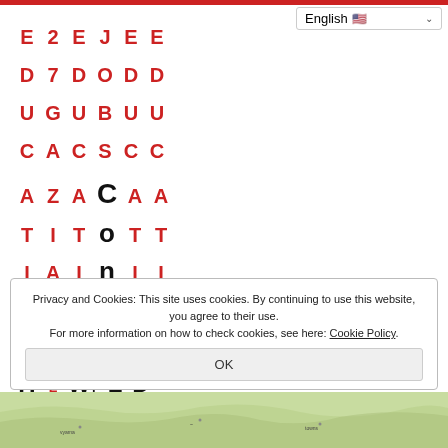English
[Figure (screenshot): Overlapping text columns showing letters in red and black forming partial words: E2EJE, D7DOD, UGUB, CACS, AZACA, TITO, IAI, ONO, NTN rows in red; Has/a/s/U/n in black; World/Wrha/lect/nt/sW columns; La/Place/cts/me in black; DD/UU/CC/AA/TT/II/OO/NN/DS/GS/SR/me in black]
Privacy and Cookies: This site uses cookies. By continuing to use this website, you agree to their use. For more information on how to check cookies, see here: Cookie Policy
[Figure (map): Partial map strip visible at the bottom of the page showing geographic map with green landmass]